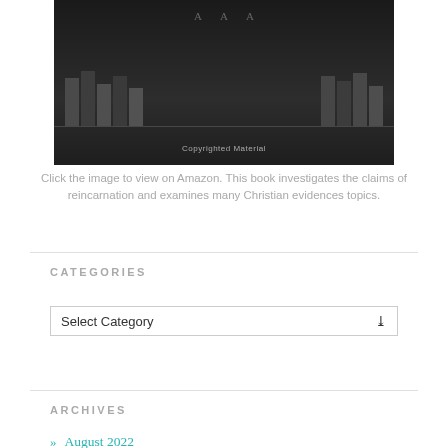[Figure (photo): Dark book shelf image with 'Copyrighted Material' text overlay at bottom center]
Click the image to view on Amazon. This book investigates the claims of reincarnation and examines many Christian evidences topics.
CATEGORIES
[Figure (screenshot): Select Category dropdown widget]
ARCHIVES
» August 2022
» July 2022
» June 2022